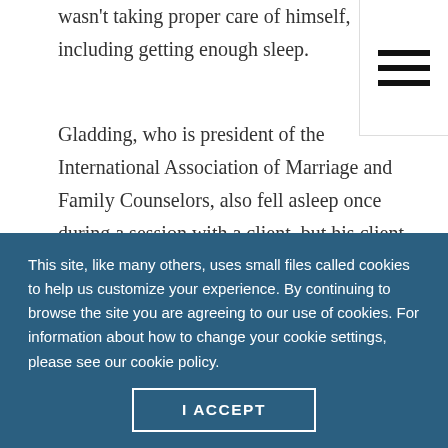wasn't taking proper care of himself, including getting enough sleep.
Gladding, who is president of the International Association of Marriage and Family Counselors, also fell asleep once during a session with a client, but his client noticed and was not happy. Gladding apologized and tried to turn the focus back to the client by asking how people in the client's own life might not be listening to him. (Gladding wrote about
This site, like many others, uses small files called cookies to help us customize your experience. By continuing to browse the site you are agreeing to our use of cookies. For information about how to change your cookie settings, please see our cookie policy.
I ACCEPT